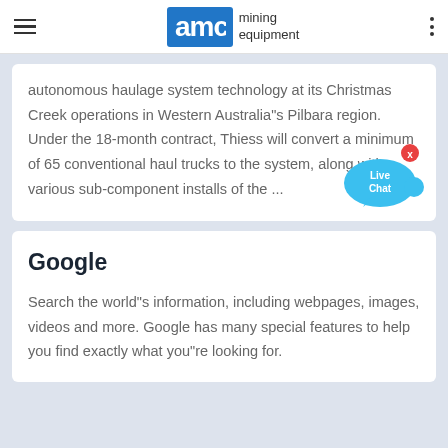AMC mining equipment
autonomous haulage system technology at its Christmas Creek operations in Western Australia"s Pilbara region. Under the 18-month contract, Thiess will convert a minimum of 65 conventional haul trucks to the system, along with various sub-component installs of the ...
[Figure (illustration): Live Chat speech bubble icon in cyan/blue]
Google
Search the world"s information, including webpages, images, videos and more. Google has many special features to help you find exactly what you"re looking for.